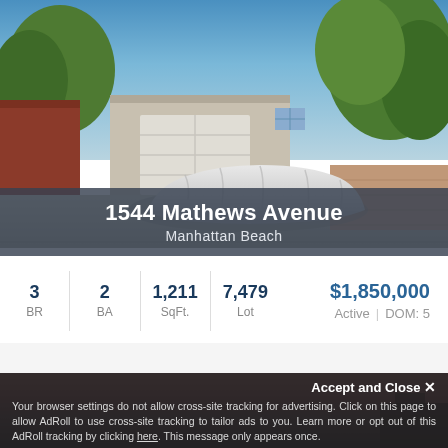[Figure (photo): Exterior photo of a residential property at 1544 Mathews Avenue, Manhattan Beach. Shows a car covered with a silver car cover in the driveway, with a white garage door visible and lush green trees in the background under a blue sky.]
1544 Mathews Avenue
Manhattan Beach
| BR | BA | SqFt. | Lot | Price |
| --- | --- | --- | --- | --- |
| 3 | 2 | 1,211 | 7,479 | $1,850,000 |
Active | DOM: 5
[Figure (photo): Partial view of a second property photo showing a sunset or twilight sky with pink and purple hues.]
Accept and Close ✕
Your browser settings do not allow cross-site tracking for advertising. Click on this page to allow AdRoll to use cross-site tracking to tailor ads to you. Learn more or opt out of this AdRoll tracking by clicking here. This message only appears once.